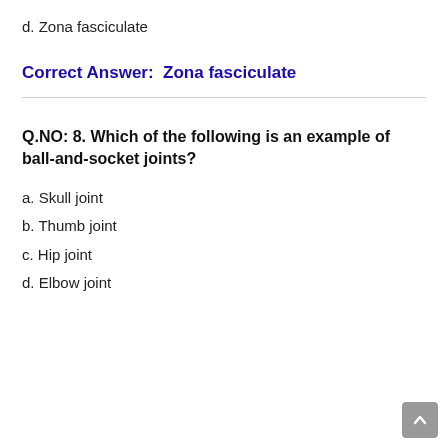d. Zona fasciculate
Correct Answer:  Zona fasciculate
Q.NO: 8. Which of the following is an example of ball-and-socket joints?
a. Skull joint
b. Thumb joint
c. Hip joint
d. Elbow joint